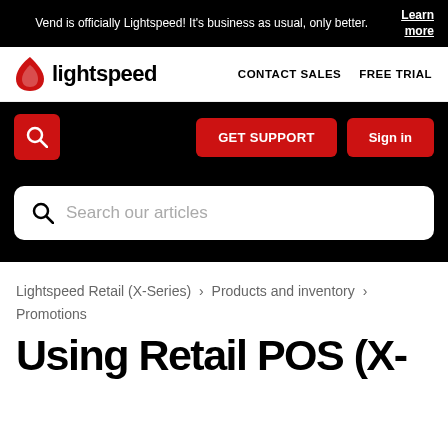Vend is officially Lightspeed! It's business as usual, only better. Learn more
[Figure (logo): Lightspeed logo with flame icon and nav links: CONTACT SALES, FREE TRIAL]
Search button | GET SUPPORT | Sign in
Search our articles
Lightspeed Retail (X-Series) › Products and inventory › Promotions
Using Retail POS (X-